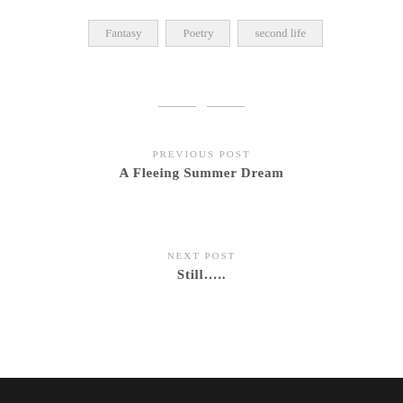Fantasy
Poetry
second life
PREVIOUS POST
A Fleeing Summer Dream
NEXT POST
Still…..